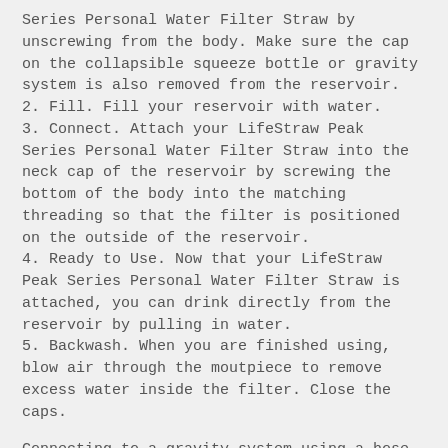Series Personal Water Filter Straw by unscrewing from the body. Make sure the cap on the collapsible squeeze bottle or gravity system is also removed from the reservoir.
2. Fill. Fill your reservoir with water.
3. Connect. Attach your LifeStraw Peak Series Personal Water Filter Straw into the neck cap of the reservoir by screwing the bottom of the body into the matching threading so that the filter is positioned on the outside of the reservoir.
4. Ready to Use. Now that your LifeStraw Peak Series Personal Water Filter Straw is attached, you can drink directly from the reservoir by pulling in water.
5. Backwash. When you are finished using, blow air through the moutpiece to remove excess water inside the filter. Close the caps.
Connecting to a gravity system using a hose
1. Open. Open the bottom cap of the LifeStraw Peak Series Personal Water Filter Straw.
2. Fill. Fill the gravity bag with water.
3. Connect. Attach the gravity system hose to the bottom